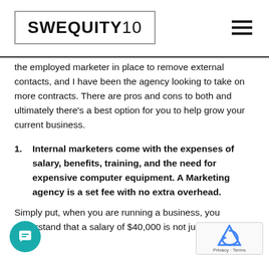SWEQUITY10
the employed marketer in place to remove external contacts, and I have been the agency looking to take on more contracts. There are pros and cons to both and ultimately there’s a best option for you to help grow your current business.
1.   Internal marketers come with the expenses of salary, benefits, training, and the need for expensive computer equipment. A Marketing agency is a set fee with no extra overhead.
Simply put, when you are running a business, you understand that a salary of $40,000 is not just $40,000